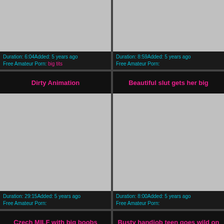[Figure (screenshot): Gray thumbnail placeholder image, top left]
Duration: 6:04Added: 5 years ago
Free Amateur Porn: big tits
[Figure (screenshot): Gray thumbnail placeholder image, top right]
Duration: 8:59Added: 5 years ago
Free Amateur Porn:
Dirty Animation
Beautiful slut gets her big
[Figure (screenshot): Gray thumbnail placeholder image, middle left]
Duration: 29:15Added: 5 years ago
Free Amateur Porn:
[Figure (screenshot): Gray thumbnail placeholder image, middle right]
Duration: 8:00Added: 5 years ago
Free Amateur Porn:
Czech MILF with big boobs
Busty handjob teen goes wild on
[Figure (photo): Colorful blurred photo, bottom left card]
[Figure (screenshot): Gray thumbnail placeholder image, bottom right card]